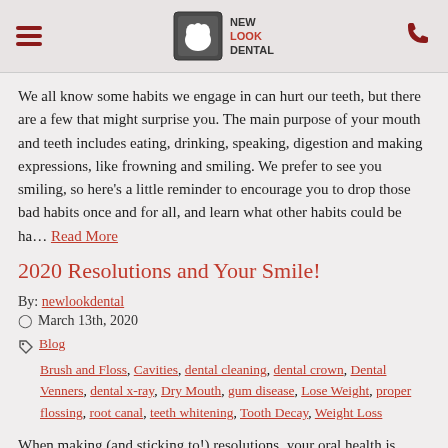New Look Dental
We all know some habits we engage in can hurt our teeth, but there are a few that might surprise you. The main purpose of your mouth and teeth includes eating, drinking, speaking, digestion and making expressions, like frowning and smiling. We prefer to see you smiling, so here's a little reminder to encourage you to drop those bad habits once and for all, and learn what other habits could be ha… Read More
2020 Resolutions and Your Smile!
By: newlookdental
March 13th, 2020
Blog
Brush and Floss, Cavities, dental cleaning, dental crown, Dental Venners, dental x-ray, Dry Mouth, gum disease, Lose Weight, proper flossing, root canal, teeth whitening, Tooth Decay, Weight Loss
When making (and sticking to!) resolutions, your oral health is likely not top on your list. But, you will be surprised at these